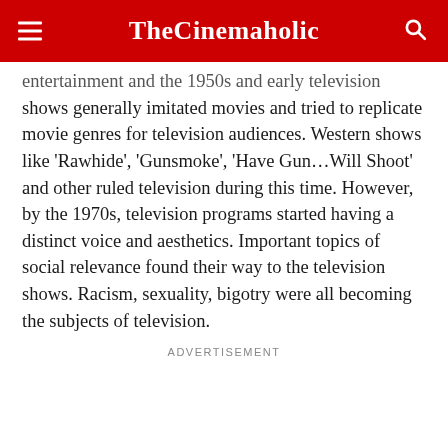TheCinemaholic
entertainment and the 1950s and early television shows generally imitated movies and tried to replicate movie genres for television audiences. Western shows like ‘Rawhide’, ‘Gunsmoke’, ‘Have Gun…Will Shoot’ and other ruled television during this time. However, by the 1970s, television programs started having a distinct voice and aesthetics. Important topics of social relevance found their way to the television shows. Racism, sexuality, bigotry were all becoming the subjects of television.
ADVERTISEMENT